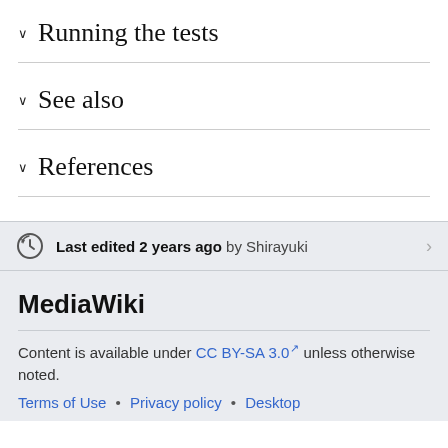Running the tests
See also
References
Last edited 2 years ago by Shirayuki
MediaWiki
Content is available under CC BY-SA 3.0 unless otherwise noted.
Terms of Use • Privacy policy • Desktop